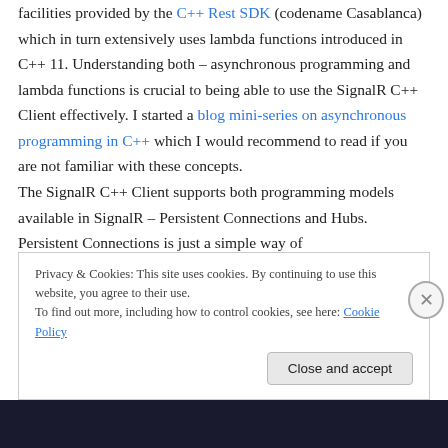facilities provided by the C++ Rest SDK (codename Casablanca) which in turn extensively uses lambda functions introduced in C++ 11. Understanding both – asynchronous programming and lambda functions is crucial to being able to use the SignalR C++ Client effectively. I started a blog mini-series on asynchronous programming in C++ which I would recommend to read if you are not familiar with these concepts.
The SignalR C++ Client supports both programming models available in SignalR – Persistent Connections and Hubs. Persistent Connections is just a simple way of
Privacy & Cookies: This site uses cookies. By continuing to use this website, you agree to their use.
To find out more, including how to control cookies, see here: Cookie Policy